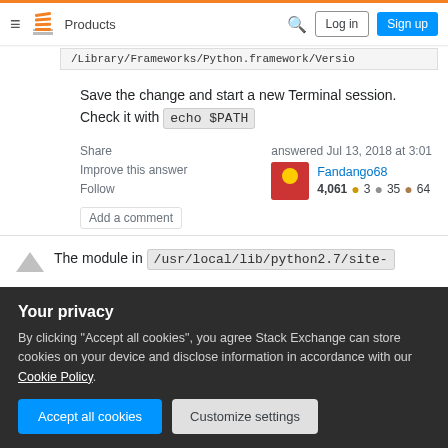≡  [Stack Overflow logo]  Products  🔍  Log in  Sign up
/Library/Frameworks/Python.framework/Versio
Save the change and start a new Terminal session. Check it with echo $PATH
Share  Improve this answer  Follow
answered Jul 13, 2018 at 3:01
Fandango68
4,061 ● 3 ● 35 ● 64
Add a comment
The module in /usr/local/lib/python2.7/site-
Your privacy
By clicking "Accept all cookies", you agree Stack Exchange can store cookies on your device and disclose information in accordance with our Cookie Policy.
Accept all cookies  Customize settings
Improve this answer  D.Shawley